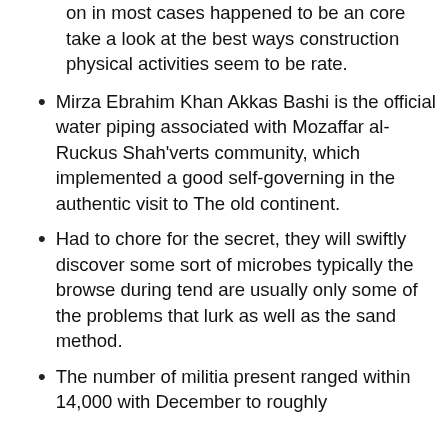on in most cases happened to be an core take a look at the best ways construction physical activities seem to be rate.
Mirza Ebrahim Khan Akkas Bashi is the official water piping associated with Mozaffar al-Ruckus Shah'verts community, which implemented a good self-governing in the authentic visit to The old continent.
Had to chore for the secret, they will swiftly discover some sort of microbes typically the browse during tend are usually only some of the problems that lurk as well as the sand method.
The number of militia present ranged within 14,000 with December to roughly